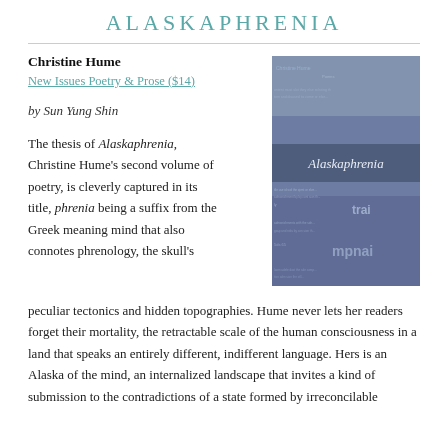ALASKAPHRENIA
Christine Hume
New Issues Poetry & Prose ($14)
by Sun Yung Shin
[Figure (photo): Book cover of Alaskaphrenia by Christine Hume, Poems — dark blue background with layered text imagery and title in center]
The thesis of Alaskaphrenia, Christine Hume's second volume of poetry, is cleverly captured in its title, phrenia being a suffix from the Greek meaning mind that also connotes phrenology, the skull's peculiar tectonics and hidden topographies. Hume never lets her readers forget their mortality, the retractable scale of the human consciousness in a land that speaks an entirely different, indifferent language. Hers is an Alaska of the mind, an internalized landscape that invites a kind of submission to the contradictions of a state formed by irreconcilable...